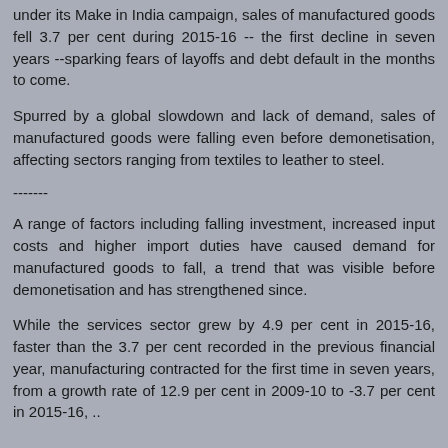under its Make in India campaign, sales of manufactured goods fell 3.7 per cent during 2015-16 -- the first decline in seven years --sparking fears of layoffs and debt default in the months to come.
Spurred by a global slowdown and lack of demand, sales of manufactured goods were falling even before demonetisation, affecting sectors ranging from textiles to leather to steel.
-------
A range of factors including falling investment, increased input costs and higher import duties have caused demand for manufactured goods to fall, a trend that was visible before demonetisation and has strengthened since.
While the services sector grew by 4.9 per cent in 2015-16, faster than the 3.7 per cent recorded in the previous financial year, manufacturing contracted for the first time in seven years, from a growth rate of 12.9 per cent in 2009-10 to -3.7 per cent in 2015-16, ..